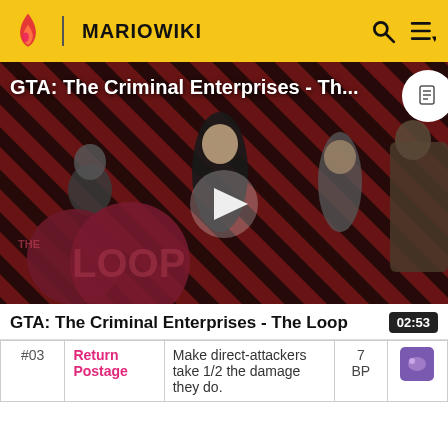MARIOWIKI
[Figure (screenshot): GTA: The Criminal Enterprises - The Loop video thumbnail with diagonal red and black stripes background, game characters, play button, and The Loop logo overlay]
GTA: The Criminal Enterprises - The Loop
| # | Name | Description | Cost | Icon |
| --- | --- | --- | --- | --- |
| #03 | Return Postage | Make direct-attackers take 1/2 the damage they do. | 7 BP |  |